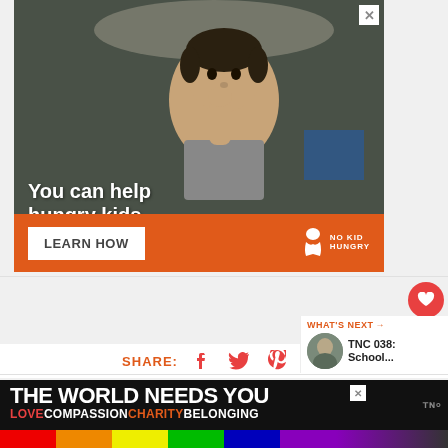[Figure (photo): Advertisement photo showing a young child eating, with text overlay 'You can help hungry kids.' and orange banner with 'LEARN HOW' button and 'NO KID HUNGRY' logo]
[Figure (photo): Bottom banner advertisement with rainbow colors and text 'THE WORLD NEEDS YOU' and 'LOVE COMPASSION CHARITY BELONGING']
SHARE:
WHAT'S NEXT → TNC 038: School...